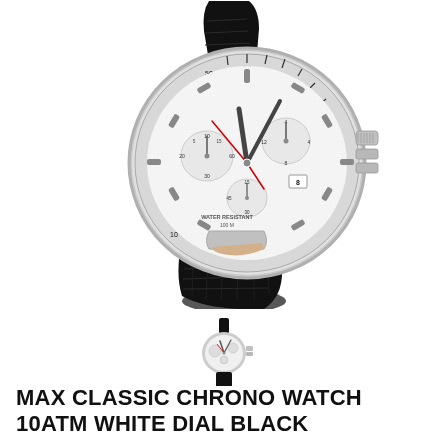[Figure (photo): Large product photo of a Max Classic Chrono watch with white dial, silver case, chronograph sub-dials, red second hand, and black croc-embossed leather strap, shown at an angle. Text on dial reads WATER RESISTANT 100M.]
[Figure (photo): Small thumbnail image of the same Max Classic Chrono watch, shown as a miniature version of the main product photo.]
MAX CLASSIC CHRONO WATCH 10ATM WHITE DIAL BLACK